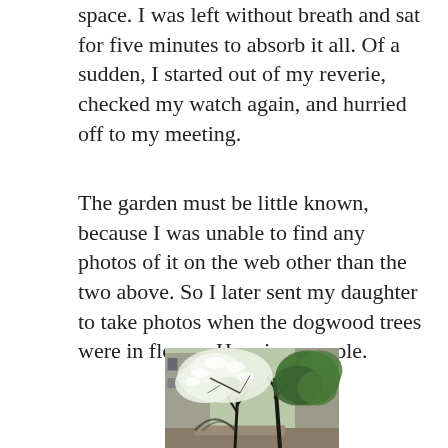space. I was left without breath and sat for five minutes to absorb it all. Of a sudden, I started out of my reverie, checked my watch again, and hurried off to my meeting.
The garden must be little known, because I was unable to find any photos of it on the web other than the two above. So I later sent my daughter to take photos when the dogwood trees were in flower. Here is a sample.
[Figure (photo): Photo of dogwood trees in flower in an urban garden, with white blossoms, green trees, and brick/concrete buildings in the background.]